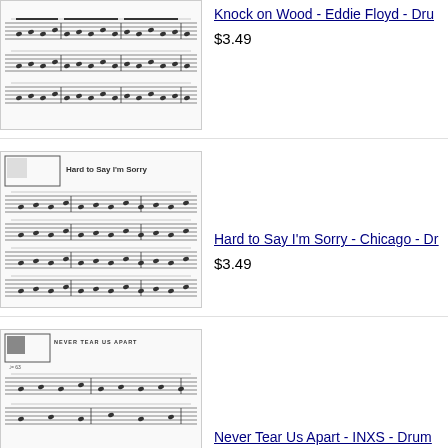[Figure (illustration): Sheet music thumbnail for Knock on Wood - Eddie Floyd - Drum transcription showing multiple staves of drum notation]
Knock on Wood - Eddie Floyd - Dru
$3.49
[Figure (illustration): Sheet music thumbnail for Hard to Say I'm Sorry - Chicago - Drum transcription with title block and multiple staves]
Hard to Say I'm Sorry - Chicago - Dr
$3.49
[Figure (illustration): Sheet music thumbnail for Never Tear Us Apart - INXS - Drum transcription with title block and staves]
Never Tear Us Apart - INXS - Drum
$4.49